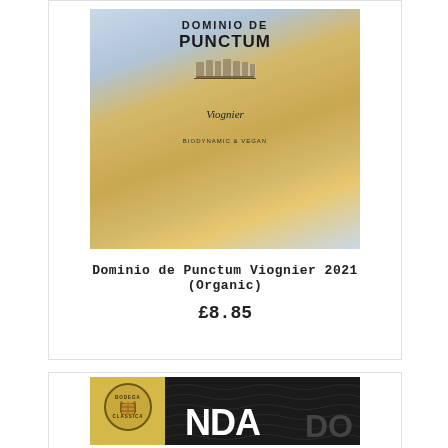[Figure (photo): Photo of Dominio de Punctum Viognier wine bottle label showing gold oval with text 'DOMINIO DE PUNCTUM', 'Viognier', building illustration, and 'BIODYNAMIC & VEGAN' text, against a blue-grey and gold background]
Dominio de Punctum Viognier 2021 (Organic)
£8.85
[Figure (photo): Partial photo of a wine bottle label showing 'BODEGA CLASSICA' circular logo on gold background and dark section with partial text beginning with 'NDA']